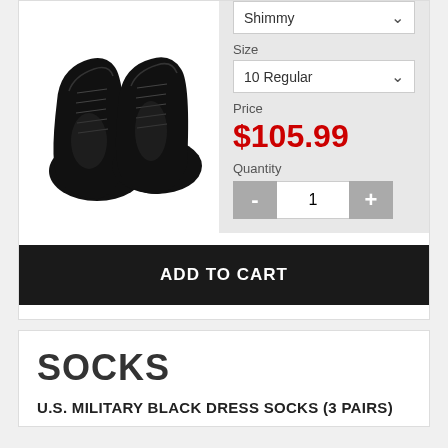[Figure (photo): Two black leather military dress oxford shoes, shown from above, lace-up style with shiny finish]
Shimmy
Size
10 Regular
Price
$105.99
Quantity
1
ADD TO CART
SOCKS
U.S. MILITARY BLACK DRESS SOCKS (3 PAIRS)